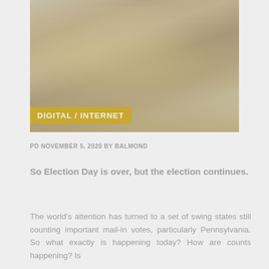[Figure (photo): Faded/muted photo of people, likely at a vote counting or election-related setting, with warm yellowish tones]
DIGITAL / INTERNET
PD NOVEMBER 5, 2020 BY BALMOND
So Election Day is over, but the election continues.
The world's attention has turned to a set of swing states still counting important mail-in votes, particularly Pennsylvania. So what exactly is happening today? How are counts happening? Is